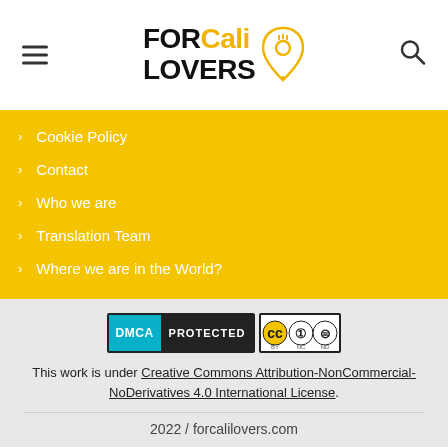FOR Cali LOVERS
Cookie Policy
Contact
Who we are
Translation Team
Where we are in the World?
[Figure (logo): DMCA Protected badge and Creative Commons BY NC ND license badge]
This work is under Creative Commons Attribution-NonCommercial-NoDerivatives 4.0 International License.
2022 / forcalilovers.com